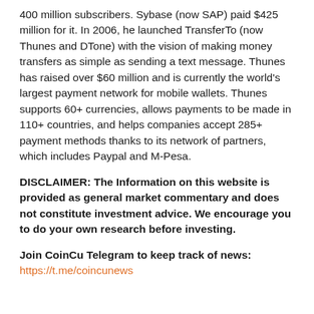400 million subscribers. Sybase (now SAP) paid $425 million for it. In 2006, he launched TransferTo (now Thunes and DTone) with the vision of making money transfers as simple as sending a text message. Thunes has raised over $60 million and is currently the world's largest payment network for mobile wallets. Thunes supports 60+ currencies, allows payments to be made in 110+ countries, and helps companies accept 285+ payment methods thanks to its network of partners, which includes Paypal and M-Pesa.
DISCLAIMER: The Information on this website is provided as general market commentary and does not constitute investment advice. We encourage you to do your own research before investing.
Join CoinCu Telegram to keep track of news: https://t.me/coincunews